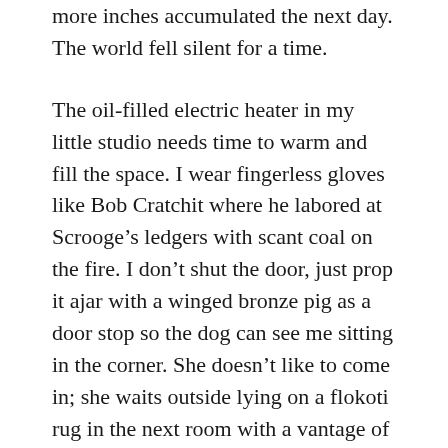more inches accumulated the next day. The world fell silent for a time.
The oil-filled electric heater in my little studio needs time to warm and fill the space. I wear fingerless gloves like Bob Cratchit where he labored at Scrooge’s ledgers with scant coal on the fire. I don’t shut the door, just prop it ajar with a winged bronze pig as a door stop so the dog can see me sitting in the corner. She doesn’t like to come in; she waits outside lying on a flokoti rug in the next room with a vantage of all approaches.
Snow still fell while I shoveled on Boxing Day and Mercy circled the hill casting for the